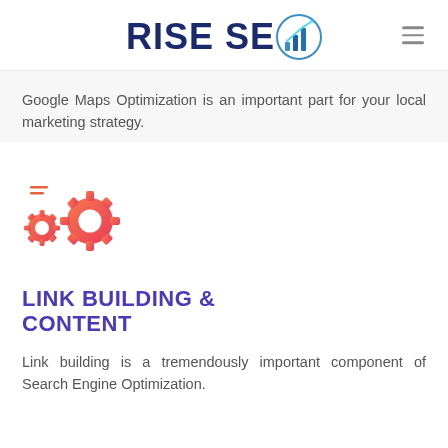RISE SEO
Google Maps Optimization is an important part for your local marketing strategy.
[Figure (illustration): Two interlocking gear icons in orange-red gradient color with a small list/menu icon in orange-red gradient above and to the left of the gears.]
LINK BUILDING & CONTENT
Link building is a tremendously important component of Search Engine Optimization.